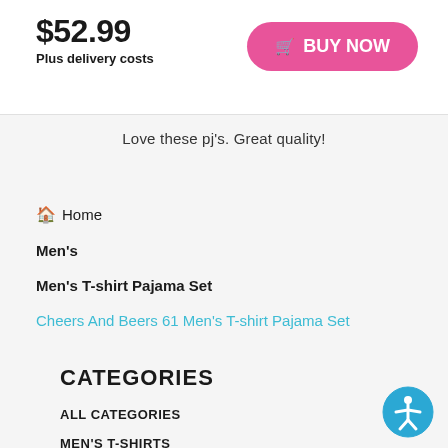$52.99
Plus delivery costs
BUY NOW
Love these pj's. Great quality!
Home
Men's
Men's T-shirt Pajama Set
Cheers And Beers 61 Men's T-shirt Pajama Set
CATEGORIES
ALL CATEGORIES
MEN'S T-SHIRTS